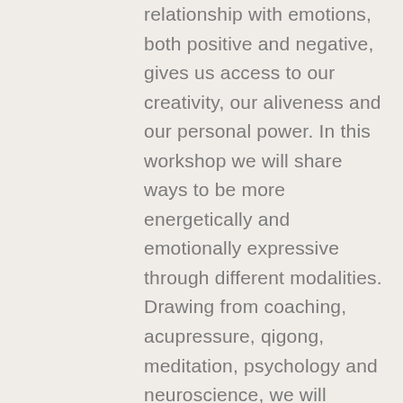relationship with emotions, both positive and negative, gives us access to our creativity, our aliveness and our personal power. In this workshop we will share ways to be more energetically and emotionally expressive through different modalities. Drawing from coaching, acupressure, qigong, meditation, psychology and neuroscience, we will explore ways to embrace and "befriend" our fear, anger,